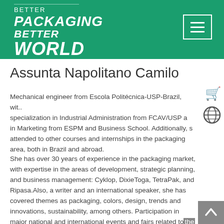BETTER PACKAGING BETTER WORLD
Assunta Napolitano Camilo
Mechanical engineer from Escola Politécnica-USP-Brazil, wit.. specialization in Industrial Administration from FCAV/USP a in Marketing from ESPM and Business School. Additionally, s attended to other courses and internships in the packaging area, both in Brazil and abroad.
She has over 30 years of experience in the packaging market, with expertise in the areas of development, strategic planning, and business management: Cyklop, DixieToga, TetraPak, and Ripasa.Also, a writer and an international speaker, she has covered themes as packaging, colors, design, trends and innovations, sustainability, among others. Participation in major national and international events and fairs related to the packaging industry: InterPack, K, Emballage, Chinaplas.